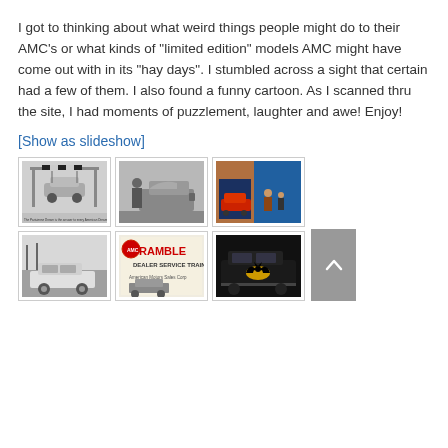I got to thinking about what weird things people might do to their AMC’s or what kinds of “limited edition” models AMC might have come out with in its “hay days”.  I stumbled across a sight that certain had a few of them.  I also found a funny cartoon.  As I scanned thru the site, I had moments of puzzlement, laughter and awe!  Enjoy!
[Show as slideshow]
[Figure (photo): Black and white photo of a car suspended under a frame/scaffold structure with checkered pattern, with caption text below]
[Figure (photo): Black and white photo of a person near the rear of a classic muscle car]
[Figure (photo): Color photo of a car dealership service area with a red car and people in front of a SERVICE sign]
[Figure (photo): Black and white photo of a classic AMC Rambler sedan on a road]
[Figure (photo): Rambler Dealer Service Training - American Motors Sales Corp sign/advertisement]
[Figure (photo): Dark colored car with Batman logo emblem on the door, partial view]